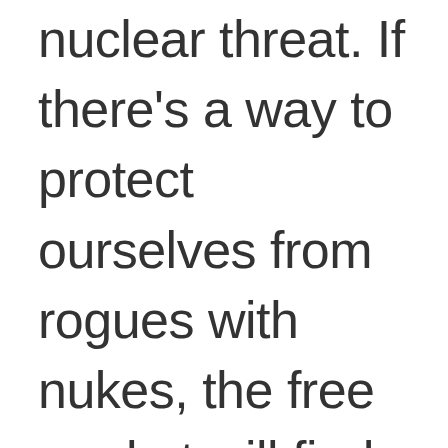nuclear threat. If there's a way to protect ourselves from rogues with nukes, the free market will find it. Citations to this